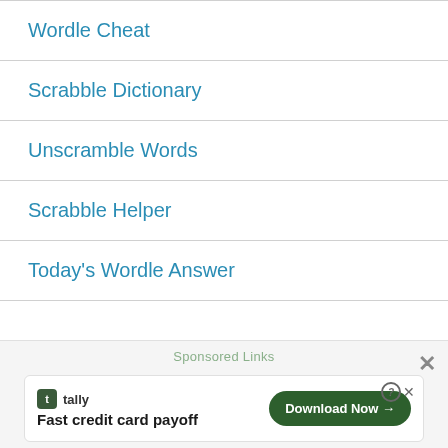Wordle Cheat
Scrabble Dictionary
Unscramble Words
Scrabble Helper
Today's Wordle Answer
Sponsored Links
Fast credit card payoff
Download Now →